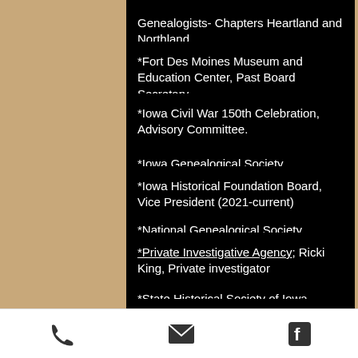Genealogists- Chapters Heartland and Northland
*Fort Des Moines Museum and Education Center, Past Board Secretary
*Iowa Civil War 150th Celebration, Advisory Committee.
*Iowa Genealogical Society
*Iowa Historical Foundation Board, Vice President (2021-current)
*National Genealogical Society
*Private Investigative Agency; Ricki King, Private investigator
*State Historical Society of Iowa
*State Historical Society of Missouri
*Targeted Small Business, Iowa Economic Development Authority various State historical and local societies
Ricki King adheres to the Association of